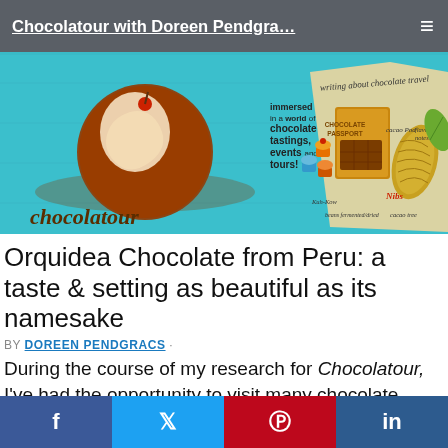Chocolatour with Doreen Pendgra…
[Figure (illustration): Chocolatour blog banner: brown chocolate globe logo with 'chocolatour' text on teal/blue wooden background on left; right side shows illustrated chocolate passport book, cupcakes, cacao pod, and handwritten notes about chocolate topics including 'writing about chocolate travel', 'cacao pod', 'Nibs', 'cacao tree', 'beans fermented/dried'. Text overlay: 'immersed in a world of chocolate tastings, events and tours!']
Orquidea Chocolate from Peru: a taste & setting as beautiful as its namesake
BY DOREEN PENDGRACS ·
During the course of my research for Chocolatour, I've had the opportunity to visit many chocolate factories.